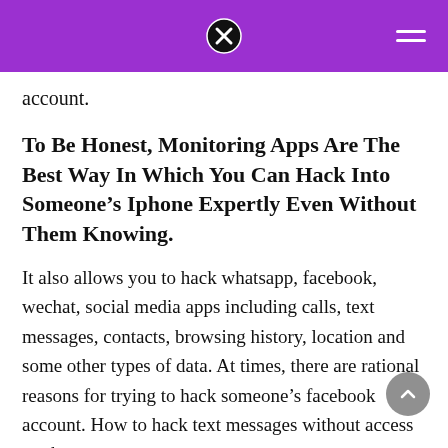[purple header bar with close icon and hamburger menu]
account.
To Be Honest, Monitoring Apps Are The Best Way In Which You Can Hack Into Someone’s Iphone Expertly Even Without Them Knowing.
It also allows you to hack whatsapp, facebook, wechat, social media apps including calls, text messages, contacts, browsing history, location and some other types of data. At times, there are rational reasons for trying to hack someone’s facebook account. How to hack text messages without access to phone.
Using A Spy App Like Umobix Is The